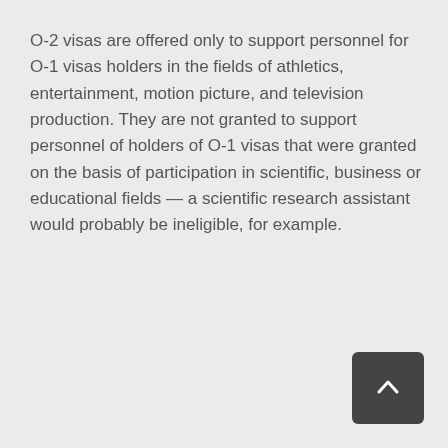O-2 visas are offered only to support personnel for O-1 visas holders in the fields of athletics, entertainment, motion picture, and television production. They are not granted to support personnel of holders of O-1 visas that were granted on the basis of participation in scientific, business or educational fields — a scientific research assistant would probably be ineligible, for example.